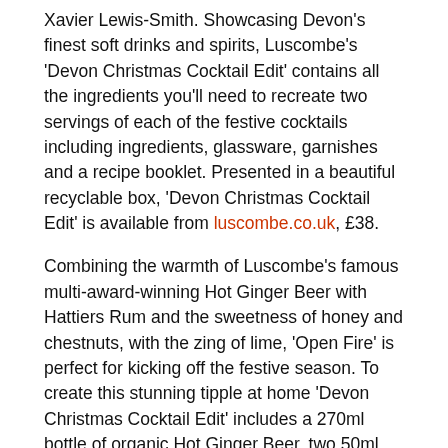Xavier Lewis-Smith. Showcasing Devon's finest soft drinks and spirits, Luscombe's 'Devon Christmas Cocktail Edit' contains all the ingredients you'll need to recreate two servings of each of the festive cocktails including ingredients, glassware, garnishes and a recipe booklet. Presented in a beautiful recyclable box, 'Devon Christmas Cocktail Edit' is available from luscombe.co.uk, £38.
Combining the warmth of Luscombe's famous multi-award-winning Hot Ginger Beer with Hattiers Rum and the sweetness of honey and chestnuts, with the zing of lime, 'Open Fire' is perfect for kicking off the festive season. To create this stunning tipple at home 'Devon Christmas Cocktail Edit' includes a 270ml bottle of organic Hot Ginger Beer, two 50ml miniatures of either Hattiers Resolute Navy Strength Rum or Hattiers Egremont Premium Reserve Rum, 30ml Chestnut Liqueur, natural Devon honey from Stone's Honey and